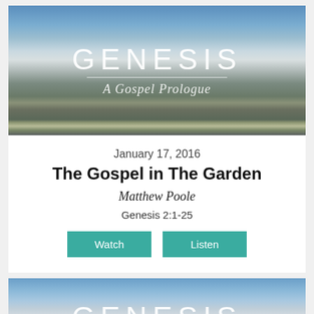[Figure (photo): Mountain landscape with snow-capped peaks, clouds, and blue sky. Overlay text reads GENESIS / A Gospel Prologue in white.]
January 17, 2016
The Gospel in The Garden
Matthew Poole
Genesis 2:1-25
Watch   Listen
[Figure (photo): Second mountain landscape card showing the same GENESIS / A Gospel Prologue branding, partially visible at bottom of page.]